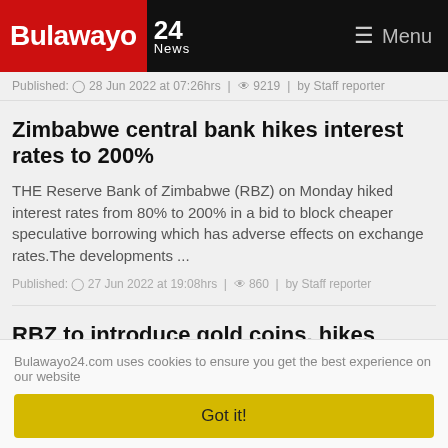Bulawayo 24 News — Menu
Published: 28 Jun 2022 at 07:26hrs | 9219 | by Staff reporter
Zimbabwe central bank hikes interest rates to 200%
THE Reserve Bank of Zimbabwe (RBZ) on Monday hiked interest rates from 80% to 200% in a bid to block cheaper speculative borrowing which has adverse effects on exchange rates.The developments ...
Published: 27 Jun 2022 at 19:08hrs | 860 | by Staff reporter
RBZ to introduce gold coins, hikes interest
Bulawayo24.com uses cookies to ensure you get the best experience on our website
Got it!